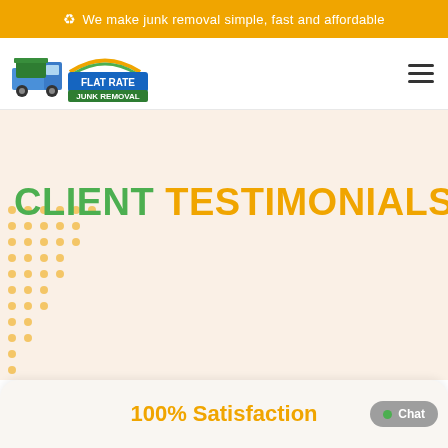♻ We make junk removal simple, fast and affordable
[Figure (logo): Flat Rate Junk Removal company logo with a truck and dumpster graphic]
CLIENT TESTIMONIALS
100% Satisfaction